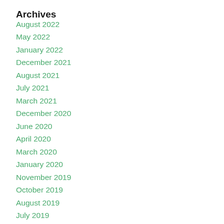Archives
August 2022
May 2022
January 2022
December 2021
August 2021
July 2021
March 2021
December 2020
June 2020
April 2020
March 2020
January 2020
November 2019
October 2019
August 2019
July 2019